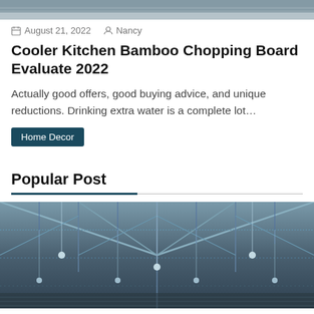[Figure (photo): Top portion of an image, partially cropped, showing what appears to be a kitchen or food-related item]
August 21, 2022  Nancy
Cooler Kitchen Bamboo Chopping Board Evaluate 2022
Actually good offers, good buying advice, and unique reductions. Drinking extra water is a complete lot…
Home Decor
Popular Post
[Figure (photo): Looking up at an industrial steel roof/ceiling structure with trusses and pendant lights, in a blue-grey monochrome tone]